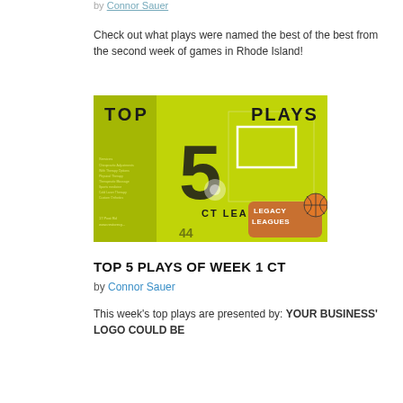by Connor Sauer
Check out what plays were named the best of the best from the second week of games in Rhode Island!
[Figure (photo): Promotional graphic for 'Top 5 Plays CT League' featuring a basketball hoop on a yellow-green tinted background, large number 5, text 'TOP PLAYS' and 'CT LEAGUE', with Legacy Leagues logo in the lower right corner.]
TOP 5 PLAYS OF WEEK 1 CT
by Connor Sauer
This week's top plays are presented by: YOUR BUSINESS' LOGO COULD BE